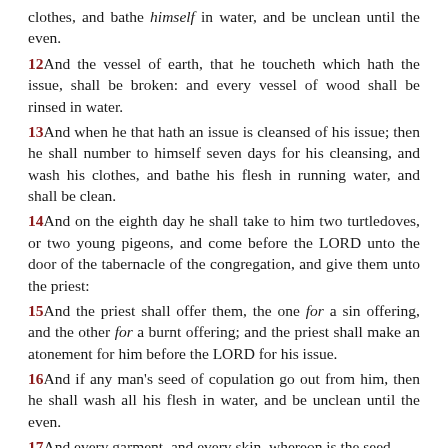clothes, and bathe himself in water, and be unclean until the even.
12And the vessel of earth, that he toucheth which hath the issue, shall be broken: and every vessel of wood shall be rinsed in water.
13And when he that hath an issue is cleansed of his issue; then he shall number to himself seven days for his cleansing, and wash his clothes, and bathe his flesh in running water, and shall be clean.
14And on the eighth day he shall take to him two turtledoves, or two young pigeons, and come before the LORD unto the door of the tabernacle of the congregation, and give them unto the priest:
15And the priest shall offer them, the one for a sin offering, and the other for a burnt offering; and the priest shall make an atonement for him before the LORD for his issue.
16And if any man's seed of copulation go out from him, then he shall wash all his flesh in water, and be unclean until the even.
17And every garment, and every skin, whereon is the seed